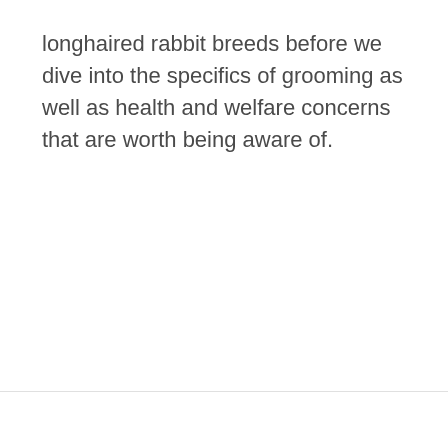longhaired rabbit breeds before we dive into the specifics of grooming as well as health and welfare concerns that are worth being aware of.